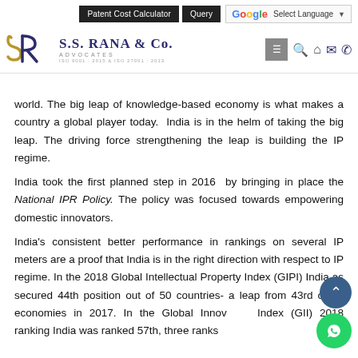Patent Cost Calculator | Query | G Select Language | S.S. RANA & CO. ADVOCATES ISO 9001 : 2015 & ISO 27001 : 2013
world. The big leap of knowledge-based economy is what makes a country a global player today. India is in the helm of taking the big leap. The driving force strengthening the leap is building the IP regime.
India took the first planned step in 2016 by bringing in place the National IPR Policy. The policy was focused towards empowering domestic innovators.
India's consistent better performance in rankings on several IP meters are a proof that India is in the right direction with respect to IP regime. In the 2018 Global Intellectual Property Index (GIPI) India as secured 44th position out of 50 countries- a leap from 43rd of 45 economies in 2017. In the Global Innovation Index (GII) 2018 ranking India was ranked 57th, three ranks